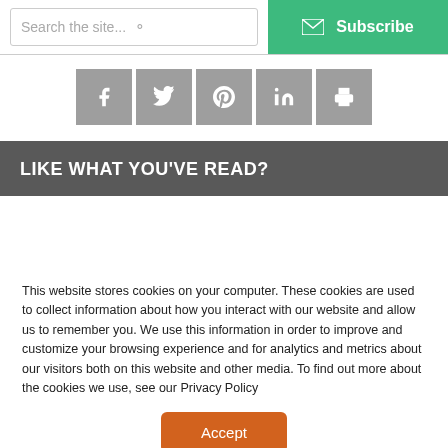[Figure (screenshot): Search bar with placeholder text 'Search the site...' and a search icon]
[Figure (screenshot): Green Subscribe button with envelope icon]
[Figure (screenshot): Row of five gray social media icon buttons: Facebook, Twitter, Pinterest, LinkedIn, Print]
LIKE WHAT YOU'VE READ?
This website stores cookies on your computer. These cookies are used to collect information about how you interact with our website and allow us to remember you. We use this information in order to improve and customize your browsing experience and for analytics and metrics about our visitors both on this website and other media. To find out more about the cookies we use, see our Privacy Policy
[Figure (screenshot): Orange Accept button for cookie consent]